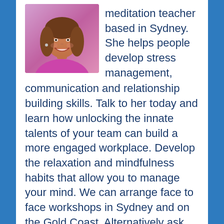[Figure (photo): Headshot photo of a smiling woman with long brown hair, wearing a bright purple/pink top]
meditation teacher based in Sydney. She helps people develop stress management, communication and relationship building skills. Talk to her today and learn how unlocking the innate talents of your team can build a more engaged workplace. Develop the relaxation and mindfulness habits that allow you to manage your mind. We can arrange face to face workshops in Sydney and on the Gold Coast. Alternatively ask about our Zoom sessions.
Contact Nicole for for a free Strengthen Your Team consultation.
m: 0425 209 008   e: nicole@isthismystory.com